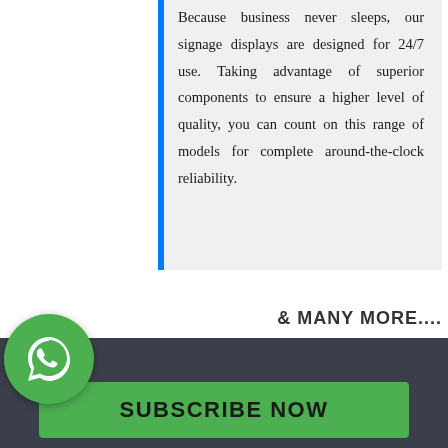Because business never sleeps, our signage displays are designed for 24/7 use. Taking advantage of superior components to ensure a higher level of quality, you can count on this range of models for complete around-the-clock reliability.
& MANY MORE....
[Figure (logo): WhatsApp logo icon — green circle with white phone handset silhouette]
SUBSCRIBE NOW